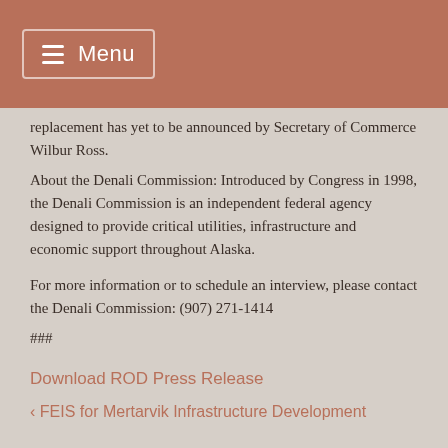Menu
replacement has yet to be announced by Secretary of Commerce Wilbur Ross.
About the Denali Commission: Introduced by Congress in 1998, the Denali Commission is an independent federal agency designed to provide critical utilities, infrastructure and economic support throughout Alaska.
For more information or to schedule an interview, please contact the Denali Commission: (907) 271-1414
###
Download ROD Press Release
< FEIS for Mertarvik Infrastructure Development